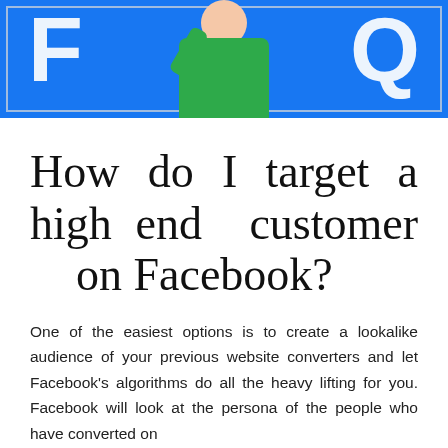[Figure (photo): Blue FAQ banner with white letters F and Q on either side, and a person in a green shirt in the center]
How do I target a high end customer on Facebook?
One of the easiest options is to create a lookalike audience of your previous website converters and let Facebook's algorithms do all the heavy lifting for you. Facebook will look at the persona of the people who have converted on